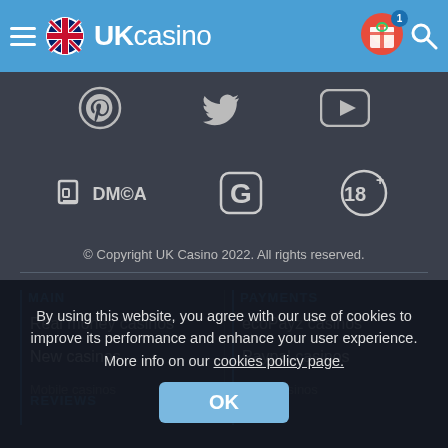UKcasino
[Figure (screenshot): Social media icons row: Pinterest, Twitter, YouTube]
[Figure (screenshot): Trust/compliance badges: DMCA, Grammarly G, 18+ age restriction]
© Copyright UK Casino 2022. All rights reserved.
MAIN
PAYMENTS
Real money casinos
ecoPayz casinos
New casinos
Paypal casinos
Mobile casinos
Skrill casinos
REVIEWS
By using this website, you agree with our use of cookies to improve its performance and enhance your user experience. More info on our cookies policy page.